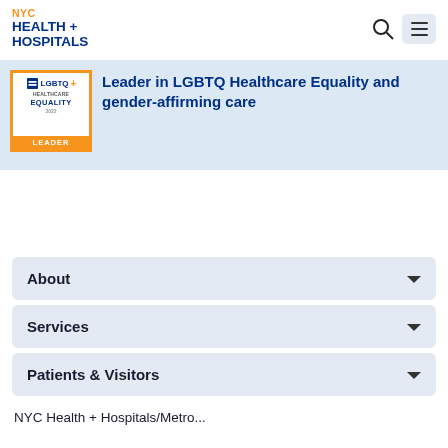[Figure (logo): NYC Health + Hospitals logo in top-left corner. 'NYC' in orange, 'HEALTH + HOSPITALS' in dark blue bold text.]
[Figure (logo): LGBTQ+ Healthcare Equality Leader 2022 badge with gold border, blue text, and orange 'LEADER' bar at bottom.]
Leader in LGBTQ Healthcare Equality and gender-affirming care
About
Services
Patients & Visitors
NYC Health + Hospitals/Metro...